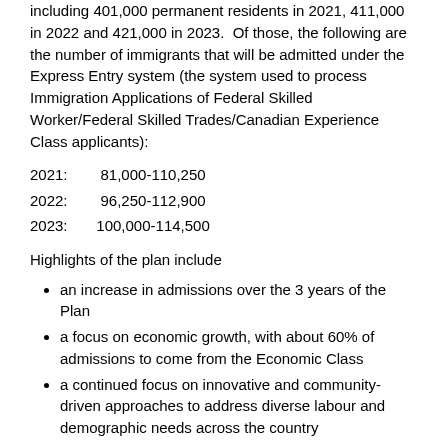including 401,000 permanent residents in 2021, 411,000 in 2022 and 421,000 in 2023.  Of those, the following are the number of immigrants that will be admitted under the Express Entry system (the system used to process Immigration Applications of Federal Skilled Worker/Federal Skilled Trades/Canadian Experience Class applicants):
2021:    81,000-110,250
2022:   96,250-112,900
2023:  100,000-114,500
Highlights of the plan include
an increase in admissions over the 3 years of the Plan
a focus on economic growth, with about 60% of admissions to come from the Economic Class
a continued focus on innovative and community-driven approaches to address diverse labour and demographic needs across the country
additional points for French-speaking candidates under Express Entry, to promote the growth of Francophone communities outside of Quebec
According to the Minister, “[t]he 2021–2023 Immigration Levels Plan will help cement Canada’s place among the world’s top